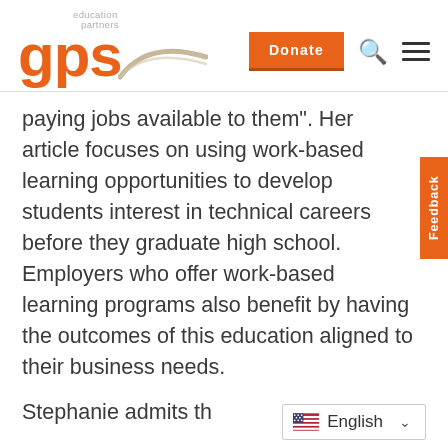[Figure (logo): GPS Education Partners logo with orange 'gps' text and 'education partners' above it, plus a swoosh graphic]
paying jobs available to them". Her article focuses on using work-based learning opportunities to develop students interest in technical careers before they graduate high school. Employers who offer work-based learning programs also benefit by having the outcomes of this education aligned to their business needs.
Stephanie admits th